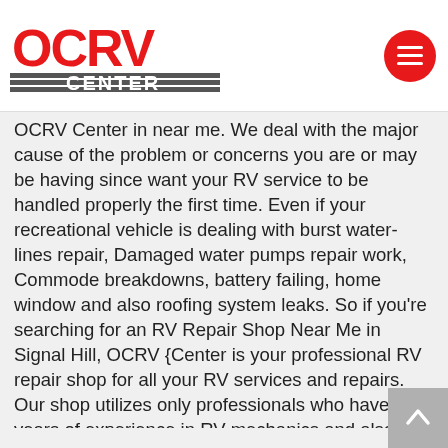OCRV CENTER logo and menu button
OCRV Center in near me. We deal with the major cause of the problem or concerns you are or may be having since want your RV service to be handled properly the first time. Even if your recreational vehicle is dealing with burst water-lines repair, Damaged water pumps repair work, Commode breakdowns, battery failing, home window and also roofing system leaks. So if you're searching for an RV Repair Shop Near Me in Signal Hill, OCRV {Center is your professional RV repair shop for all your RV services and repairs. Our shop utilizes only professionals who have years of experience in RV mechanics and also troubleshooting. Your RV repair shops require to have the capability to track and also deal with the root of the problem and also remove it so your RV runs and also looks as you imagined originally. Look no more for RV mechanics near me in Signal Hill, as the competent specialists at OCRV are well learnt RV service and repair, RV maintenance, RV interior remodeling, causing trusted RV